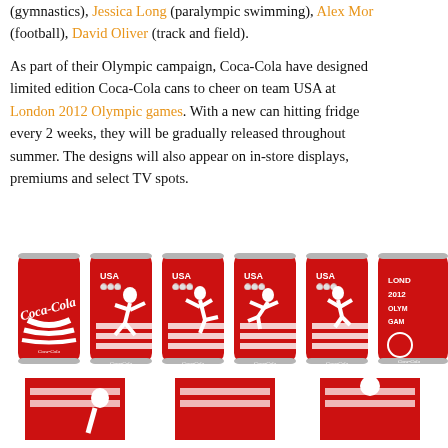(gymnastics), Jessica Long (paralympic swimming), Alex Mo... (football), David Oliver (track and field). As part of their Olympic campaign, Coca-Cola have designed limited edition Coca-Cola cans to cheer on team USA at London 2012 Olympic games. With a new can hitting frid every 2 weeks, they will be gradually released throughout summer. The designs will also appear on in-store displ premiums and select TV spots.
[Figure (photo): Row of Coca-Cola limited edition Olympic cans for London 2012, featuring athlete silhouettes in white on red cans with USA branding and Olympic rings, plus a London 2012 Olympic Games branded can.]
[Figure (photo): Bottom portions of three Coca-Cola cans visible, red with partial athlete imagery.]